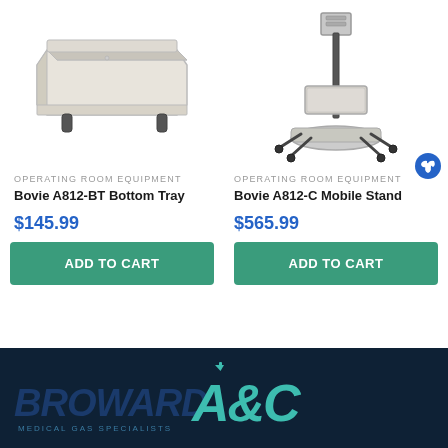[Figure (photo): Bovie A812-BT Bottom Tray - a flat beige/cream metal tray with raised edges and small feet]
[Figure (photo): Bovie A812-C Mobile Stand - a stainless steel instrument stand on wheels with adjustable pole and shelf]
OPERATING ROOM EQUIPMENT
Bovie A812-BT Bottom Tray
$145.99
ADD TO CART
OPERATING ROOM EQUIPMENT
Bovie A812-C Mobile Stand
$565.99
ADD TO CART
[Figure (logo): Broward A&C Medical Gas Specialists logo in dark blue and teal on dark navy background]